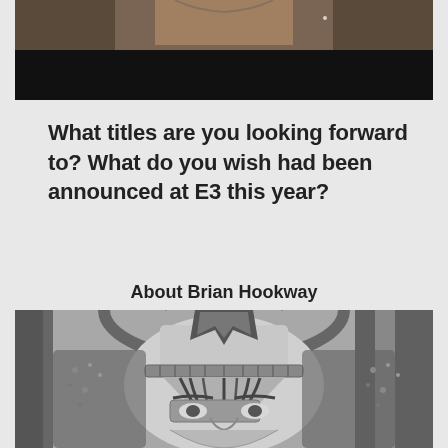[Figure (photo): Top portion of a person's torso with a black bar overlay at the bottom]
What titles are you looking forward to? What do you wish had been announced at E3 this year?
About Brian Hookway
[Figure (illustration): Black and white illustrated spartan/warrior helmet face close-up, stylized graphic art]